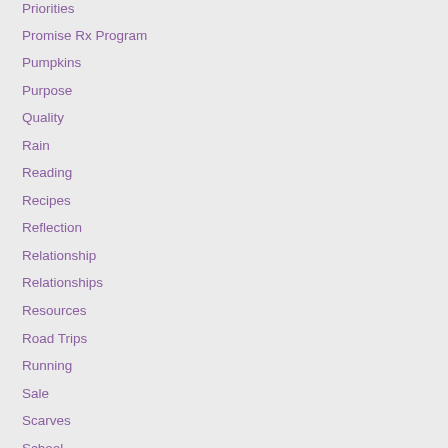Priorities
Promise Rx Program
Pumpkins
Purpose
Quality
Rain
Reading
Recipes
Reflection
Relationship
Relationships
Resources
Road Trips
Running
Sale
Scarves
School
School Supplies
Script